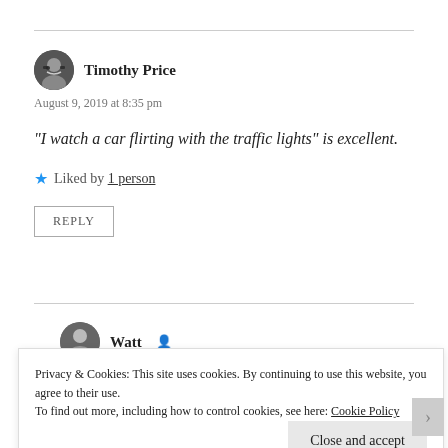Timothy Price
August 9, 2019 at 8:35 pm
“I watch a car flirting with the traffic lights” is excellent.
Liked by 1 person
REPLY
Watt
Privacy & Cookies: This site uses cookies. By continuing to use this website, you agree to their use.
To find out more, including how to control cookies, see here: Cookie Policy
Close and accept